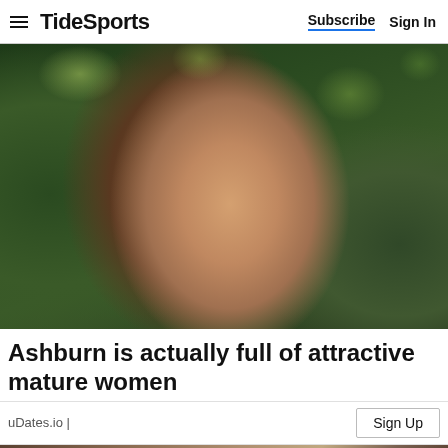TideSports | Subscribe  Sign In
[Figure (photo): Portrait photo of a young woman with long brown hair smiling, with green bokeh foliage background]
Ashburn is actually full of attractive mature women
uDates.io |
[Figure (photo): Bottom cropped portion of another photo, partially visible]